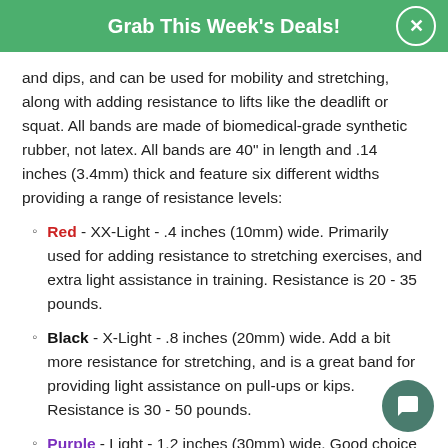Grab This Week's Deals!
and dips, and can be used for mobility and stretching, along with adding resistance to lifts like the deadlift or squat. All bands are made of biomedical-grade synthetic rubber, not latex. All bands are 40" in length and .14 inches (3.4mm) thick and feature six different widths providing a range of resistance levels:
Red - XX-Light - .4 inches (10mm) wide. Primarily used for adding resistance to stretching exercises, and extra light assistance in training. Resistance is 20 - 35 pounds.
Black - X-Light - .8 inches (20mm) wide. Add a bit more resistance for stretching, and is a great band for providing light assistance on pull-ups or kips. Resistance is 30 - 50 pounds.
Purple - Light - 1.2 inches (30mm) wide. Good choice as a general use band and specifically for adding resistance to